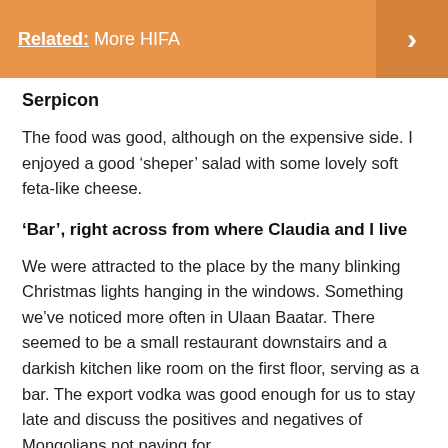Related: More HIFA
Serpicon
The food was good, although on the expensive side. I enjoyed a good ‘sheper’ salad with some lovely soft feta-like cheese.
‘Bar’, right across from where Claudia and I live
We were attracted to the place by the many blinking Christmas lights hanging in the windows. Something we’ve noticed more often in Ulaan Baatar. There seemed to be a small restaurant downstairs and a darkish kitchen like room on the first floor, serving as a bar. The export vodka was good enough for us to stay late and discuss the positives and negatives of Mongolians not paying for